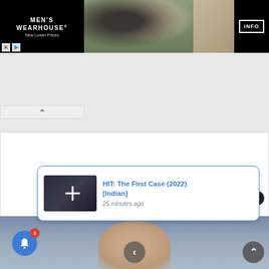[Figure (screenshot): Men's Wearhouse advertisement banner with black background on left showing brand name and 'New Lower Prices' tagline, center photo of couple at prom/wedding event, man in dark suit and woman in formal dress, right section showing tan/beige suit, and INFO button on far right]
[Figure (screenshot): White collapsed ad panel with upward caret/arrow button for collapsing the ad]
[Figure (screenshot): Large white rectangular content area (main page body, blank/loading)]
[Figure (screenshot): Notification popup with blue border showing movie thumbnail for 'HIT: The First Case (2022) [Indian]' with crosshair/plus icon overlay, title in blue, timestamp '25 minutes ago' in gray italic. Close X button in dark circle above popup. Bell notification icon (blue circle with white bell, red badge showing '3') at bottom left. Bottom section shows blurred content area with navigation arrows.]